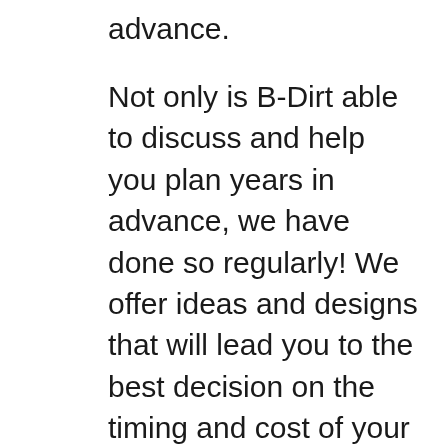advance.
Not only is B-Dirt able to discuss and help you plan years in advance, we have done so regularly! We offer ideas and designs that will lead you to the best decision on the timing and cost of your eventual retirement home. B Dirt recommends coming in to meet with us face-to-face for about an hour to discuss what type of home you are looking for and how you plan to use it: will it be a seasonal or year-round residence? We will discuss how we can manage your project from a distance. We do this frequently, as many of our